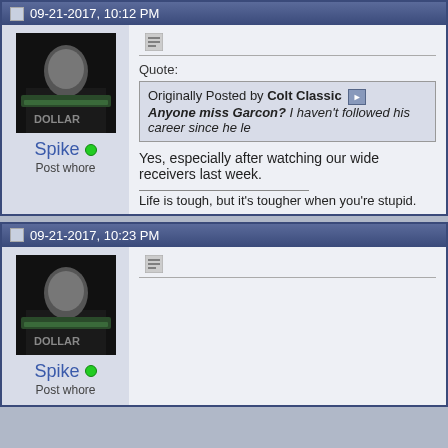09-21-2017, 10:12 PM
Spike
Post whore
Quote:
Originally Posted by Colt Classic
Anyone miss Garcon? I haven't followed his career since he le
Yes, especially after watching our wide receivers last week.
Life is tough, but it's tougher when you're stupid.
09-21-2017, 10:23 PM
Spike
Post whore